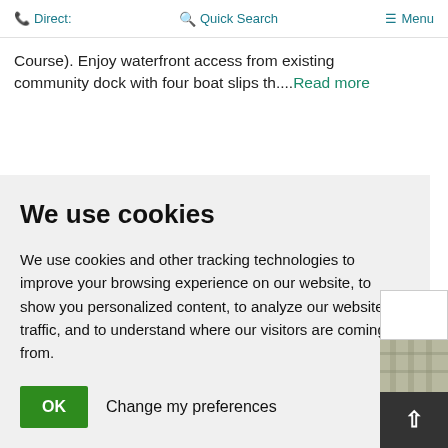Direct: | Quick Search | Menu
Course). Enjoy waterfront access from existing community dock with four boat slips th....Read more
We use cookies
We use cookies and other tracking technologies to improve your browsing experience on our website, to show you personalized content, to analyze our website traffic, and to understand where our visitors are coming from.
OK  Change my preferences
[Figure (photo): Partial view of a building exterior, wooden siding visible]